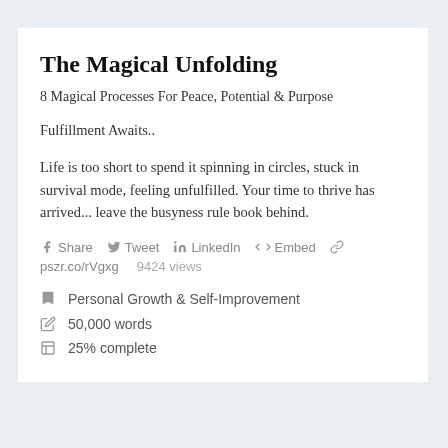The Magical Unfolding
8 Magical Processes For Peace, Potential & Purpose
Fulfillment Awaits..
Life is too short to spend it spinning in circles, stuck in survival mode, feeling unfulfilled. Your time to thrive has arrived... leave the busyness rule book behind.
Share   Tweet   LinkedIn   </> Embed   pszr.co/rVgxg   9424 views
Personal Growth & Self-Improvement
50,000 words
25% complete